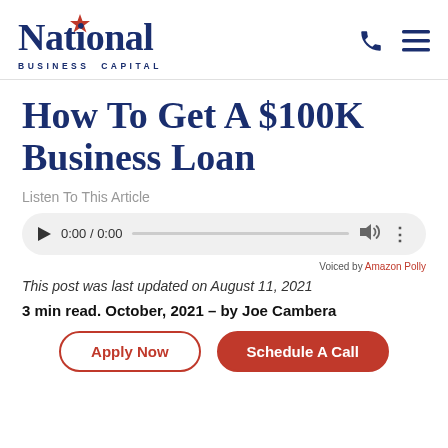[Figure (logo): National Business Capital logo with star accent above the letter 'i' in National]
How To Get A $100K Business Loan
Listen To This Article
[Figure (other): Audio player widget showing 0:00 / 0:00 with play button, progress bar, volume, and menu icons]
Voiced by Amazon Polly
This post was last updated on August 11, 2021
3 min read. October, 2021 – by Joe Cambera